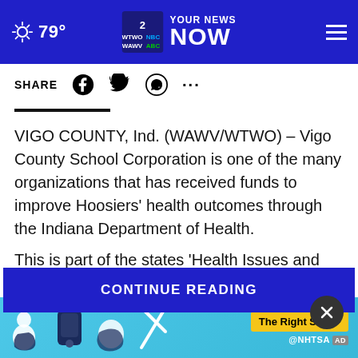79° YOUR NEWS NOW
SHARE
VIGO COUNTY, Ind. (WAWV/WTWO) – Vigo County School Corporation is one of the many organizations that has received funds to improve Hoosiers' health outcomes through the Indiana Department of Health.
This is part of the states 'Health Issues and Challenges Gra...
[Figure (screenshot): CONTINUE READING button overlay in dark blue]
[Figure (screenshot): NHTSA The Right Seat advertisement banner at the bottom]